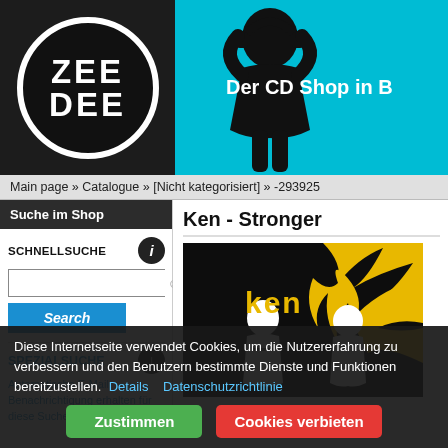[Figure (logo): ZeeDee logo: circular white-bordered logo with 'ZEE DEE' text in white on dark background, set in cyan header banner with silhouette of DJ with headphones and tagline 'Der CD Shop in B']
Main page » Catalogue » [Nicht kategorisiert] » -293925
Suche im Shop
SCHNELLSUCHE
Search
SPEZIALSUCHE
Automatische E-Mail Benachrichtigung erhalten für diese Suche
Ken - Stronger
[Figure (photo): Album cover for 'Ken - Stronger': dark background with yellow paint splash, white silhouettes of two figures, yellow stylized 'ken' text]
Diese Internetseite verwendet Cookies, um die Nutzererfahrung zu verbessern und den Benutzern bestimmte Dienste und Funktionen bereitzustellen.  Details   Datenschutzrichtlinie
Zustimmen
Cookies verbieten